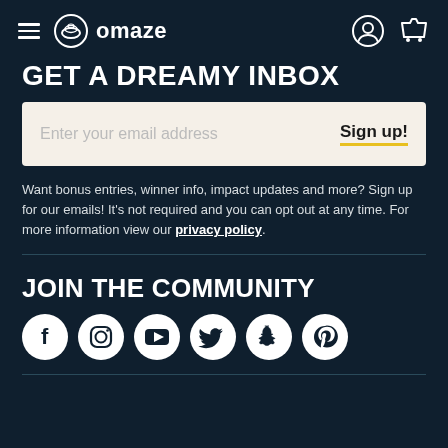omaze — navigation header with hamburger menu, logo, user icon, cart icon
GET A DREAMY INBOX
[Figure (other): Email signup input field with placeholder 'Enter your email address' and a 'Sign up!' button with yellow underline]
Want bonus entries, winner info, impact updates and more? Sign up for our emails! It's not required and you can opt out at any time. For more information view our privacy policy.
JOIN THE COMMUNITY
[Figure (other): Social media icons row: Facebook, Instagram, YouTube, Twitter, Snapchat, Pinterest — white icons on black circles]